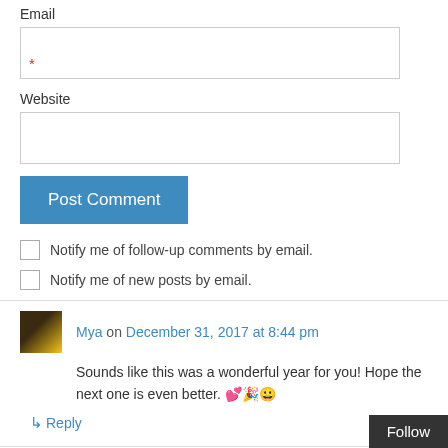Email
Website
Post Comment
Notify me of follow-up comments by email.
Notify me of new posts by email.
Mya on December 31, 2017 at 8:44 pm
Sounds like this was a wonderful year for you! Hope the next one is even better. 💕🎉😀
Reply